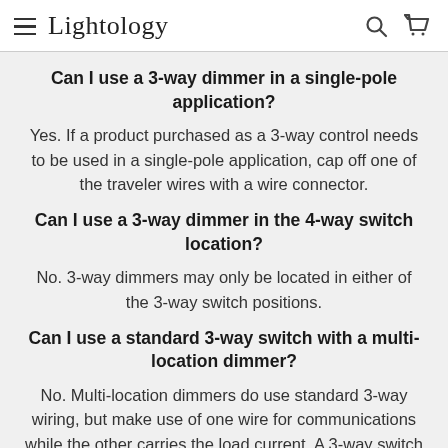Lightology
Can I use a 3-way dimmer in a single-pole application?
Yes. If a product purchased as a 3-way control needs to be used in a single-pole application, cap off one of the traveler wires with a wire connector.
Can I use a 3-way dimmer in the 4-way switch location?
No. 3-way dimmers may only be located in either of the 3-way switch positions.
Can I use a standard 3-way switch with a multi-location dimmer?
No. Multi-location dimmers do use standard 3-way wiring, but make use of one wire for communications while the other carries the load current. A 3-way switch is not compatible with this configuration.